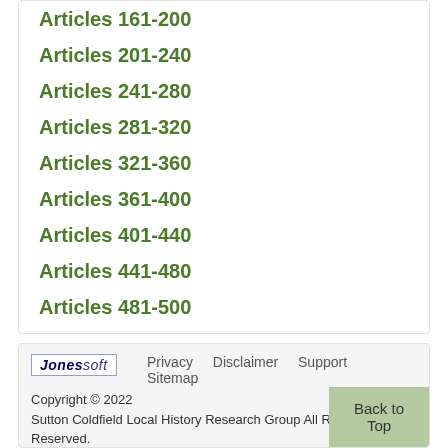Articles 161-200
Articles 201-240
Articles 241-280
Articles 281-320
Articles 321-360
Articles 361-400
Articles 401-440
Articles 441-480
Articles 481-500
Jonessoft | Privacy  Disclaimer  Support  Sitemap
Copyright © 2022
Sutton Coldfield Local History Research Group All Rights Reserved.
Back to Top